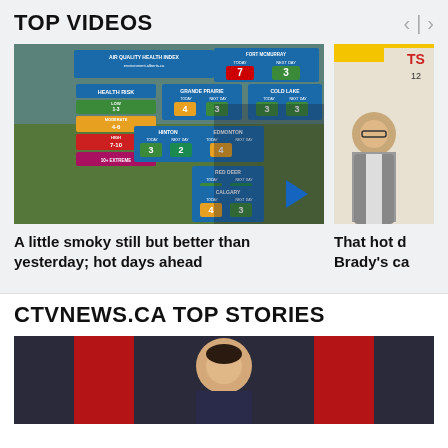TOP VIDEOS
[Figure (screenshot): Weather forecast video thumbnail showing Air Quality Health Index map for Alberta with a presenter. Shows various risk levels: LOW 1-3, MODERATE 4-6, HIGH 7-10, 10+ EXTREME. City readings: Grande Prairie Today 4 / Next Day 3, Cold Lake Today 3 / Next Day 3, Hinton Today 3 / Next Day 2, Edmonton Today 4 / Next Day unknown, Red Deer Today 3 / Next Day 2, Calgary Today 4 / Next Day 3. Fort McMurray Today 7 / Next Day 3.]
A little smoky still but better than yesterday; hot days ahead
[Figure (screenshot): Partial video thumbnail showing a man in a suit jacket speaking, with TSN 1260 branding visible in the background.]
That hot d Brady's ca
CTVNEWS.CA TOP STORIES
[Figure (photo): Partially visible photo at bottom of page showing person(s) in front of red background, appears to be a political/news context.]